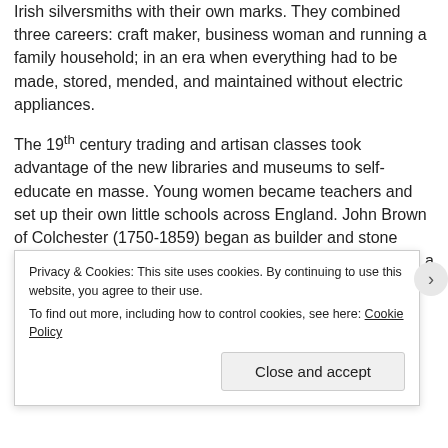Irish silversmiths with their own marks. They combined three careers: craft maker, business woman and running a family household; in an era when everything had to be made, stored, mended, and maintained without electric appliances.
The 19th century trading and artisan classes took advantage of the new libraries and museums to self-educate en masse. Young women became teachers and set up their own little schools across England. John Brown of Colchester (1750-1859) began as builder and stone mason, added a career as excellent sculptor and became a famous geologist, a specialist in the study of fossils.
In the 21st century contemporary artists as ever use any
Privacy & Cookies: This site uses cookies. By continuing to use this website, you agree to their use.
To find out more, including how to control cookies, see here: Cookie Policy
Close and accept